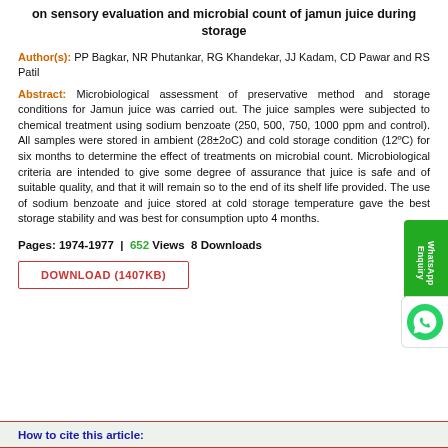on sensory evaluation and microbial count of jamun juice during storage
Author(s): PP Bagkar, NR Phutankar, RG Khandekar, JJ Kadam, CD Pawar and RS Patil
Abstract: Microbiological assessment of preservative method and storage conditions for Jamun juice was carried out. The juice samples were subjected to chemical treatment using sodium benzoate (250, 500, 750, 1000 ppm and control). All samples were stored in ambient (28±2oC) and cold storage condition (12ºC) for six months to determine the effect of treatments on microbial count. Microbiological criteria are intended to give some degree of assurance that juice is safe and of suitable quality, and that it will remain so to the end of its shelf life provided. The use of sodium benzoate and juice stored at cold storage temperature gave the best storage stability and was best for consumption upto 4 months.
Pages: 1974-1977  |  652 Views  8 Downloads
DOWNLOAD (1407KB)
How to cite this article: